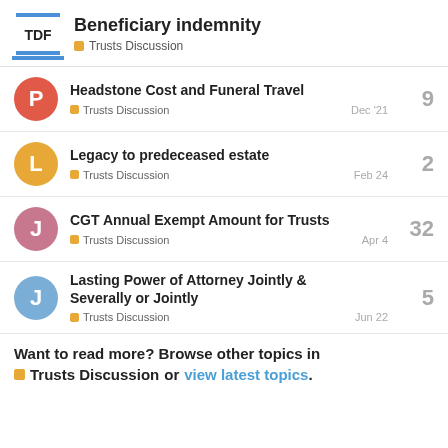Beneficiary indemnity — Trusts Discussion
Headstone Cost and Funeral Travel — Trusts Discussion — Dec '21 — 9 replies
Legacy to predeceased estate — Trusts Discussion — Feb 24 — 2 replies
CGT Annual Exempt Amount for Trusts — Trusts Discussion — Apr 4 — 32 replies
Lasting Power of Attorney Jointly & Severally or Jointly — Trusts Discussion — Jun 22 — 5 replies
Want to read more? Browse other topics in Trusts Discussion or view latest topics.